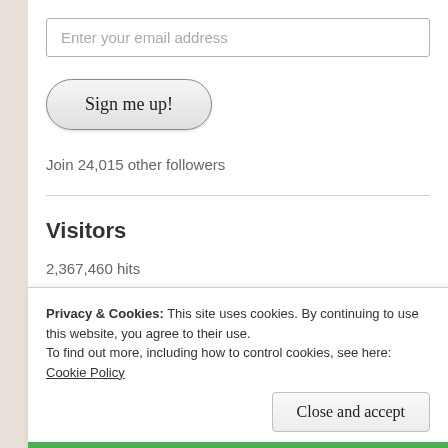Enter your email address
Sign me up!
Join 24,015 other followers
Visitors
2,367,460 hits
Privacy & Cookies: This site uses cookies. By continuing to use this website, you agree to their use.
To find out more, including how to control cookies, see here: Cookie Policy
Close and accept